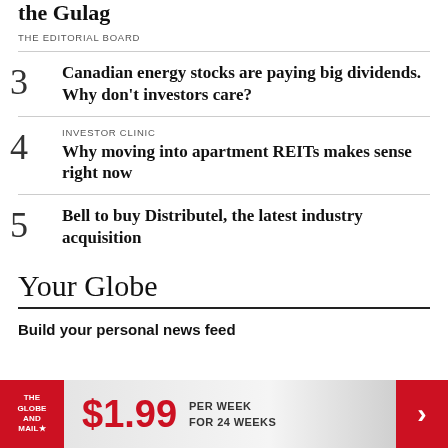the Gulag
THE EDITORIAL BOARD
3 Canadian energy stocks are paying big dividends. Why don't investors care?
4 INVESTOR CLINIC Why moving into apartment REITs makes sense right now
5 Bell to buy Distributel, the latest industry acquisition
Your Globe
Build your personal news feed
[Figure (infographic): The Globe and Mail advertisement banner: logo on red background, $1.99 PER WEEK FOR 24 WEEKS, red arrow on right]